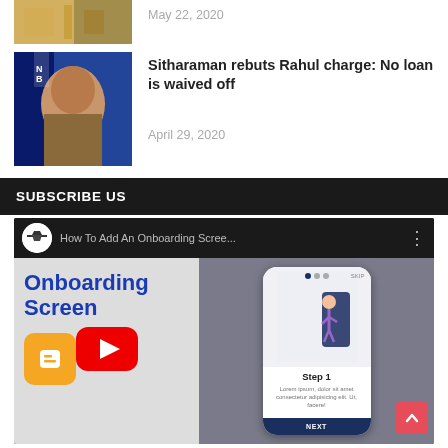[Figure (photo): Partial article with a warehouse/store image (top cropped) and date May 22, 2020]
May 22, 2020
[Figure (photo): Photo of Nirmala Sitharaman speaking, blue background with partial text]
Sitharaman rebuts Rahul charge: No loan is waived off
April 29, 2020
SUBSCRIBE US
[Figure (screenshot): YouTube video embed showing 'How To Add An Onboarding Scree...' with Onboarding Screen text, Blogger icon on left, and phone mockup with Step 1 on right, red YouTube play button in center]